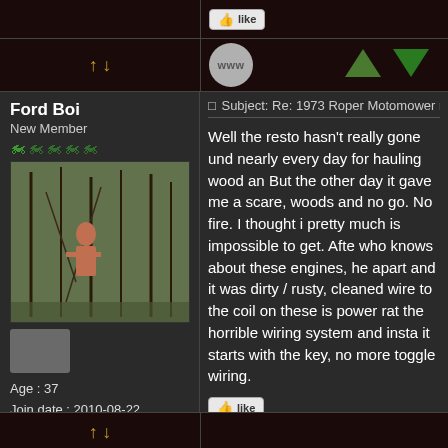[Figure (screenshot): Like button in top navigation bar]
[Figure (screenshot): WWW circle avatar and up/down vote arrows]
Ford Boi
New Member
[Figure (photo): User profile photo showing person in wooded area]
Age : 37
Join date : 2010-08-22
Posts : 242
Location : Yarmouth, Nova Scotia, Canada
Subject: Re: 1973 Roper Motomower res
Well the resto hasn't really gone und nearly every day for hauling wood an But the other day it gave me a scare, woods and no go. No fire. I thought pretty much is impossible to get. Aft who knows about these engines, he apart and it was dirty / rusty, cleaned wire to the coil on these is power rat the horrible wiring system and insta it starts with the key, no more toggl wiring.
[Figure (screenshot): Like button below post]
[Figure (screenshot): Navigation arrows in bottom bar]
product
Subject: Re: 1973 Roper Moto...